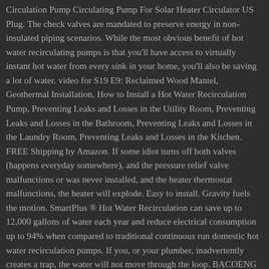Circulation Pump Circulating Pump For Solar Heater Circulator US Plug. The check valves are mandated to preserve energy in non-insulated piping scenarios. While the most obvious benefit of hot water recirculating pumps is that you'll have access to virtually instant hot water from every sink in your home, you'll also be saving a lot of water. video for S19 E9: Reclaimed Wood Mantel, Geothermal Installation, How to Install a Hot Water Recirculation Pump, Preventing Leaks and Losses in the Utility Room, Preventing Leaks and Losses in the Bathroom, Preventing Leaks and Losses in the Laundry Room, Preventing Leaks and Losses in the Kitchen. FREE Shipping by Amazon. If some idiot turns off both valves (happens everyday somewhere), and the pressure relief valve malfunctions or was never installed, and the heater thermostat malfunctions, the heater will explode. Easy to install. Gravity fuels the motion. SmartPlus ® Hot Water Recirculation can save up to 12,000 gallons of water each year and reduce electrical consumption up to 94% when compared to traditional continuous run domestic hot water recirculation pumps. If you, or your plumber, inadvertently creates a trap, the water will not move through the loop. BACOENG 3/4" 110V NPT Hot Water Circulation Pump Circulating Pump For Solar Heater Circulator US Plug. Two Types of